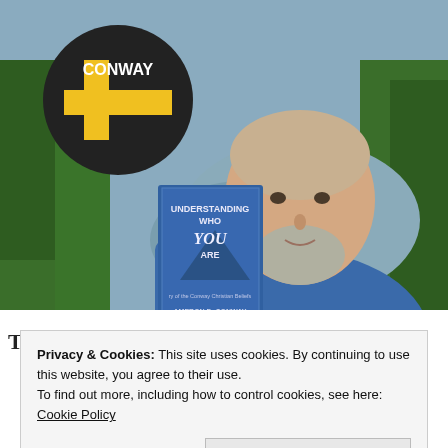[Figure (photo): A man with a light beard holding a book titled 'Understanding Who You Are' by Cameron D. Conway. He is wearing a blue shirt. In the upper left is a circular logo with a yellow cross on black background with the text CONWAY. The background shows trees and sky.]
The Conway Christian Resources Podcast
Privacy & Cookies: This site uses cookies. By continuing to use this website, you agree to their use. To find out more, including how to control cookies, see here: Cookie Policy
Close and accept